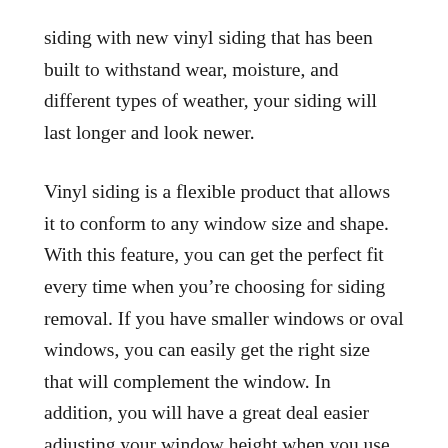siding with new vinyl siding that has been built to withstand wear, moisture, and different types of weather, your siding will last longer and look newer.
Vinyl siding is a flexible product that allows it to conform to any window size and shape. With this feature, you can get the perfect fit every time when you’re choosing for siding removal. If you have smaller windows or oval windows, you can easily get the right size that will complement the window. In addition, you will have a great deal easier adjusting your window height when you use siding removal. This is especially important if you have extremely high windows or need to cover a lot of area around your window.